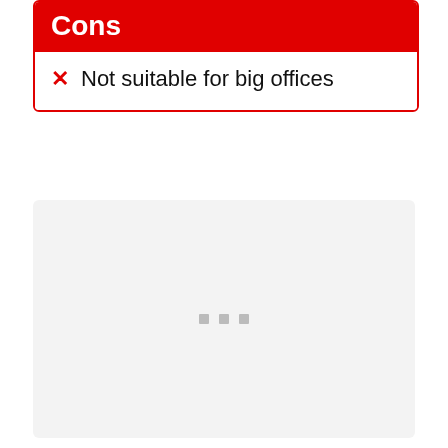Cons
Not suitable for big offices
[Figure (other): Light gray placeholder box with three small gray square dots centered, indicating loading or empty content area]